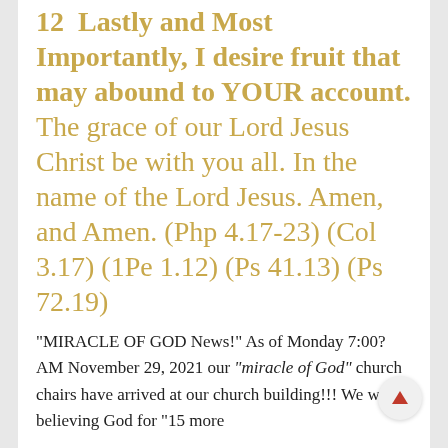12 Lastly and Most Importantly, I desire fruit that may abound to YOUR account. The grace of our Lord Jesus Christ be with you all. In the name of the Lord Jesus. Amen, and Amen. (Php 4.17-23) (Col 3.17) (1Pe 1.12) (Ps 41.13) (Ps 72.19)
"MIRACLE OF GOD News!" As of Monday 7:00? AM November 29, 2021 our "miracle of God" church chairs have arrived at our church building!!! We were believing God for "15 more